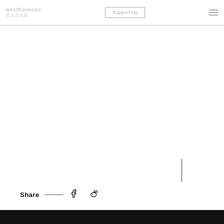westKowloon 西九文化區 | Support Us
[Figure (other): Vertical separator line near bottom right of page]
Share
[Figure (other): Facebook share icon]
[Figure (other): Weibo share icon]